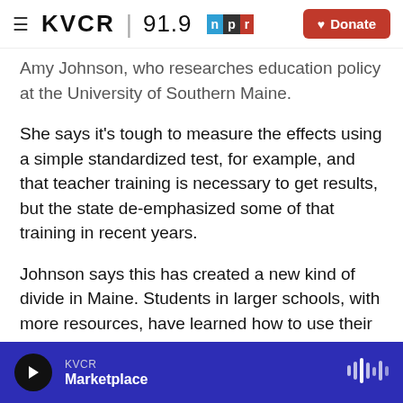KVCR 91.9 NPR | Donate
Amy Johnson, who researches education policy at the University of Southern Maine.
She says it's tough to measure the effects using a simple standardized test, for example, and that teacher training is necessary to get results, but the state de-emphasized some of that training in recent years.
Johnson says this has created a new kind of divide in Maine. Students in larger schools, with more resources, have learned how to use their laptops in more creative ways.
KVCR Marketplace